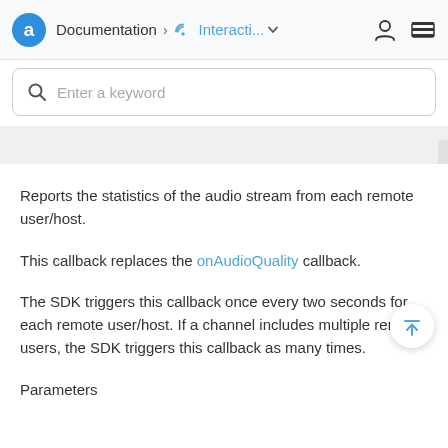Documentation > Interacti... (dropdown) [user icon] [menu icon]
Enter a keyword
Reports the statistics of the audio stream from each remote user/host.
This callback replaces the onAudioQuality callback.
The SDK triggers this callback once every two seconds for each remote user/host. If a channel includes multiple remote users, the SDK triggers this callback as many times.
Parameters